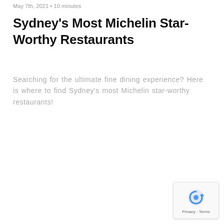May 7th, 2021 • 10 minutes
Sydney's Most Michelin Star-Worthy Restaurants
Searching for the ultimate fine dining experience? Here is where to find Sydney's most Michelin star-worthy restaurants!
[Figure (other): Green 'Tips' button/badge]
[Figure (other): reCAPTCHA badge with privacy and terms links]